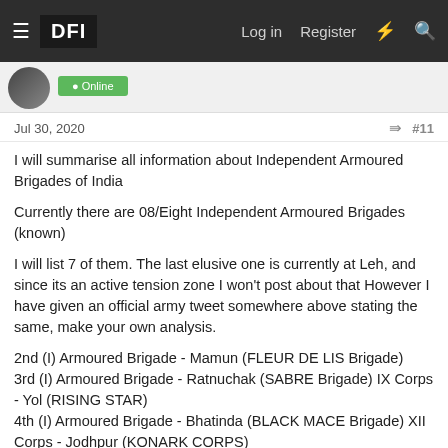DFI — Log in  Register
Jul 30, 2020  #11
I will summarise all information about Independent Armoured Brigades of India
Currently there are 08/Eight Independent Armoured Brigades (known)
I will list 7 of them. The last elusive one is currently at Leh, and since its an active tension zone I won't post about that However I have given an official army tweet somewhere above stating the same, make your own analysis.
2nd (I) Armoured Brigade - Mamun (FLEUR DE LIS Brigade)
3rd (I) Armoured Brigade - Ratnuchak (SABRE Brigade) IX Corps - Yol (RISING STAR)
4th (I) Armoured Brigade - Bhatinda (BLACK MACE Brigade) XII Corps - Jodhpur (KONARK CORPS)